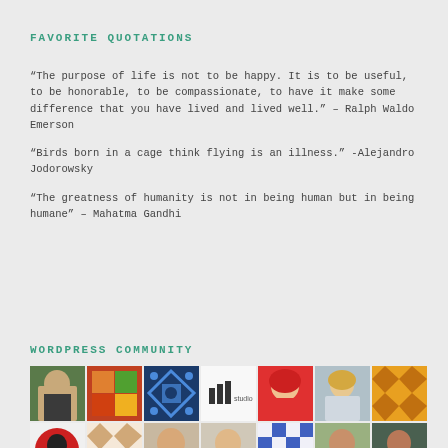FAVORITE QUOTATIONS
“The purpose of life is not to be happy. It is to be useful, to be honorable, to be compassionate, to have it make some difference that you have lived and lived well.” – Ralph Waldo Emerson
“Birds born in a cage think flying is an illness.” -Alejandro Jodorowsky
“The greatness of humanity is not in being human but in being humane” – Mahatma Gandhi
WORDPRESS COMMUNITY
[Figure (photo): Grid of community member avatar photos and logos, two rows of seven thumbnails each.]